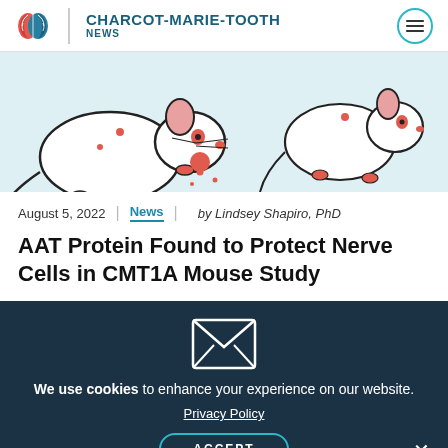CHARCOT-MARIE-TOOTH NEWS
[Figure (illustration): Illustration of mice on light blue background for Charcot-Marie-Tooth News article hero image]
August 5, 2022 | News | by Lindsey Shapiro, PhD
AAT Protein Found to Protect Nerve Cells in CMT1A Mouse Study
We use cookies to enhance your experience on our website.
Privacy Policy
ACCEPT